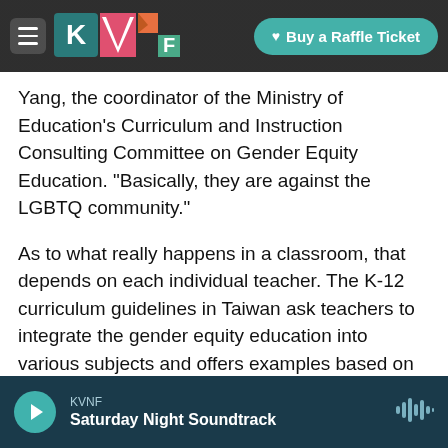KVNF | Buy a Raffle Ticket
Yang, the coordinator of the Ministry of Education's Curriculum and Instruction Consulting Committee on Gender Equity Education. "Basically, they are against the LGBTQ community."
As to what really happens in a classroom, that depends on each individual teacher. The K-12 curriculum guidelines in Taiwan ask teachers to integrate the gender equity education into various subjects and offers examples based on students' ages and needs.
"The reason I put out that course was that a
KVNF Saturday Night Soundtrack